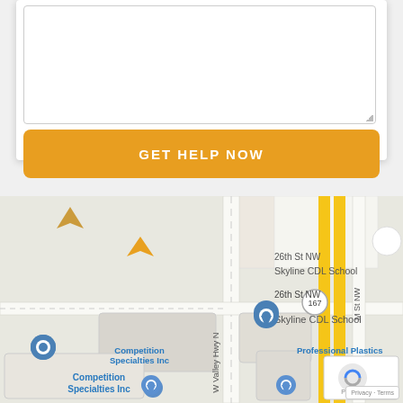[Figure (screenshot): Partial view of a web form with a textarea input box (mostly empty, white background) at the top.]
GET HELP NOW
[Figure (map): Google Maps screenshot showing area around Skyline CDL School at 26th St NW, with W Valley Hwy N, M St NW, route 167, Competition Specialties Inc, and Professional Plastics visible. Blue and yellow map pins present. reCAPTCHA icon visible bottom right.]